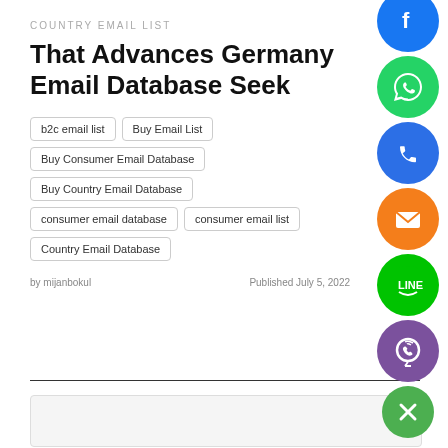COUNTRY EMAIL LIST
That Advances Germany Email Database Seek
b2c email list
Buy Email List
Buy Consumer Email Database
Buy Country Email Database
consumer email database
consumer email list
Country Email Database
by mijanbokul
Published July 5, 2022
[Figure (illustration): Social sharing icons column: Facebook (blue), WhatsApp (green), Phone/Viber (blue), Email (orange), LINE (green outline), Viber (purple), Close/X (green)]